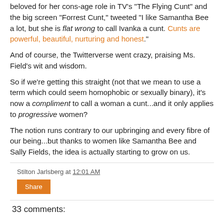beloved for her cons-age role in TV's 'The Flying Cunt' and the big screen "Forrest Cunt," tweeted "I like Samantha Bee a lot, but she is flat wrong to call Ivanka a cunt. Cunts are powerful, beautiful, nurturing and honest."
And of course, the Twitterverse went crazy, praising Ms. Field's wit and wisdom.
So if we're getting this straight (not that we mean to use a term which could seem homophobic or sexually binary), it's now a compliment to call a woman a cunt...and it only applies to progressive women?
The notion runs contrary to our upbringing and every fibre of our being...but thanks to women like Samantha Bee and Sally Fields, the idea is actually starting to grow on us.
Stilton Jarlsberg at 12:01 AM
Share
33 comments: